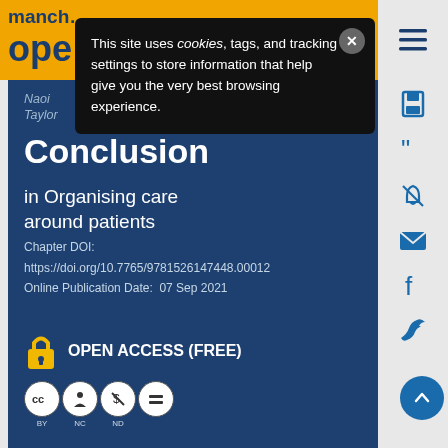manchester open
[Figure (screenshot): Cookie consent popup overlay with dark background: 'This site uses cookies, tags, and tracking settings to store information that help give you the very best browsing experience.']
Naoi Taylor
Conclusion
in Organising care around patients
Chapter DOI: https://doi.org/10.7765/9781526147448.00012
Online Publication Date:  07 Sep 2021
OPEN ACCESS (FREE)
[Figure (logo): Creative Commons license badge: CC BY NC ND]